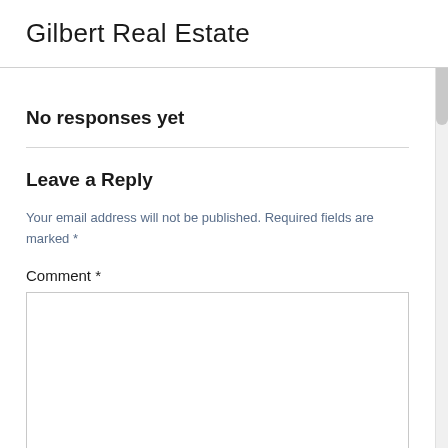Gilbert Real Estate
No responses yet
Leave a Reply
Your email address will not be published. Required fields are marked *
Comment *